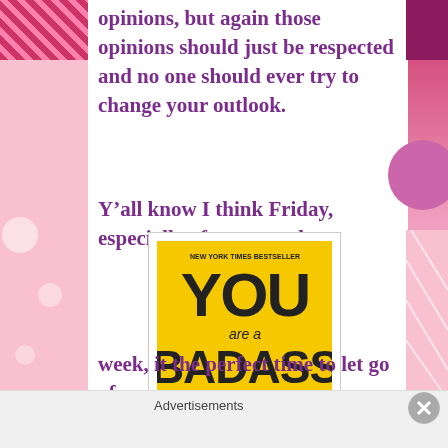opinions, but again those opinions should just be respected and no one should ever try to change your outlook.
Y'all know I think Friday, especially after a very long
[Figure (photo): Book cover of 'You Are a Badass' by Jen Sincero — yellow background with bold black text]
week, it the perfect time to let go of any
Advertisements